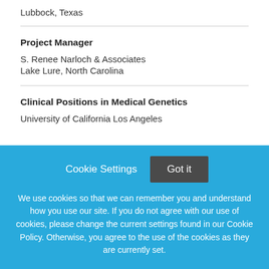Lubbock, Texas
Project Manager
S. Renee Narloch & Associates
Lake Lure, North Carolina
Clinical Positions in Medical Genetics
University of California Los Angeles
Cookie Settings  Got it
We use cookies so that we can remember you and understand how you use our site. If you do not agree with our use of cookies, please change the current settings found in our Cookie Policy. Otherwise, you agree to the use of the cookies as they are currently set.